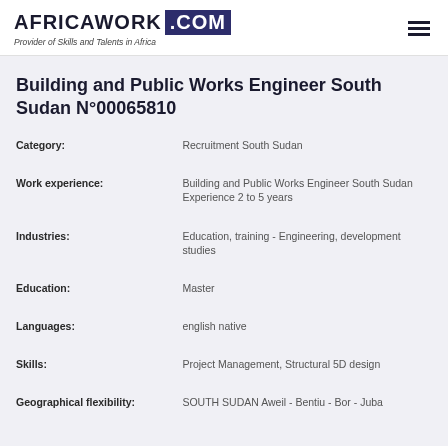AFRICAWORK .COM — Provider of Skills and Talents in Africa
Building and Public Works Engineer South Sudan N°00065810
| Field | Value |
| --- | --- |
| Category: | Recruitment South Sudan |
| Work experience: | Building and Public Works Engineer South Sudan Experience 2 to 5 years |
| Industries: | Education, training - Engineering, development studies |
| Education: | Master |
| Languages: | english native |
| Skills: | Project Management, Structural 5D design |
| Geographical flexibility: | SOUTH SUDAN Aweil - Bentiu - Bor - Juba |